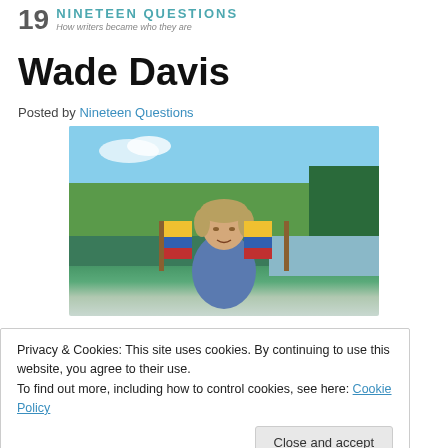19 NINETEEN QUESTIONS — How writers became who they are
Wade Davis
Posted by Nineteen Questions
[Figure (photo): Photo of Wade Davis outdoors in a green field with flags draped over his shoulders, blue sky behind him]
Privacy & Cookies: This site uses cookies. By continuing to use this website, you agree to their use. To find out more, including how to control cookies, see here: Cookie Policy
Close and accept
I was introduced to Wade Davis through the University of